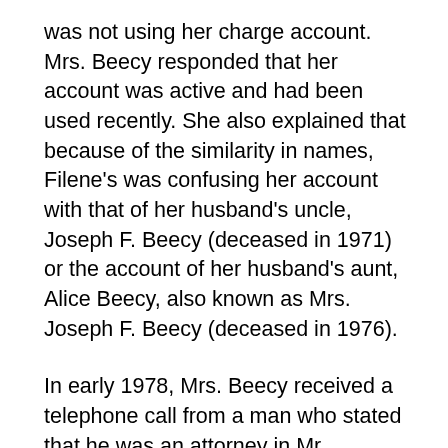was not using her charge account. Mrs. Beecy responded that her account was active and had been used recently. She also explained that because of the similarity in names, Filene's was confusing her account with that of her husband's uncle, Joseph F. Beecy (deceased in 1971) or the account of her husband's aunt, Alice Beecy, also known as Mrs. Joseph F. Beecy (deceased in 1976).
In early 1978, Mrs. Beecy received a telephone call from a man who stated that he was an attorney in Mr. Pucciarelli's office and he informed her that she had an overdue balance on her charge account. Mrs. Beecy told the attorney that the balance in her account was current and that her account was being confused with someone else's account, perhaps her husband's uncle or aunt. The Beecys allege that, although Filene's and